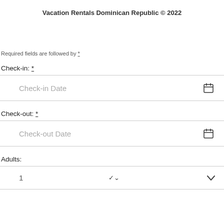Vacation Rentals Dominican Republic © 2022
Required fields are followed by *
Check-in: *
Check-in Date
Check-out: *
Check-out Date
Adults:
1